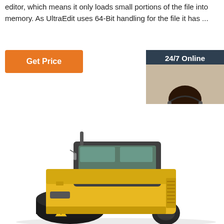editor, which means it only loads small portions of the file into memory. As UltraEdit uses 64-Bit handling for the file it has ...
[Figure (other): Orange 'Get Price' button]
[Figure (other): 24/7 Online chat widget with customer service representative photo, 'Click here for free chat!' text and orange QUOTATION button]
[Figure (photo): Yellow road roller / compactor construction machine on white background]